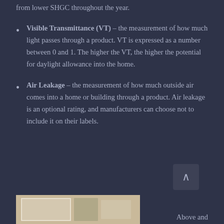from lower SHGC throughout the year.
Visible Transmittance (VT) – the measurement of how much light passes through a product. VT is expressed as a number between 0 and 1. The higher the VT, the higher the potential for daylight allowance into the home.
Air Leakage – the measurement of how much outside air comes into a home or building through a product. Air leakage is an optional rating, and manufacturers can choose not to include it on their labels.
[Figure (photo): Photo of an energy performance label or window product]
Above and